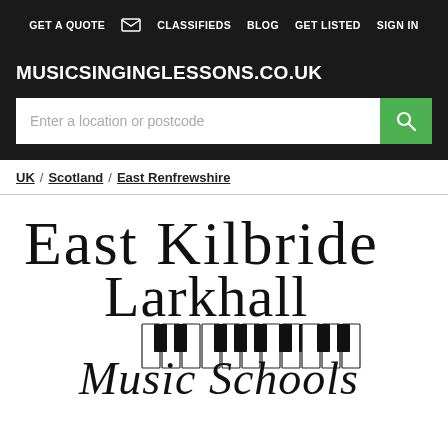GET A QUOTE  ✉  CLASSIFIEDS  BLOG  GET LISTED  SIGN IN
MUSICSINGINGLESSONS.CO.UK
[Figure (other): Search input field with placeholder 'Enter a location or postcode' and a green search button with magnifying glass icon]
UK / Scotland / East Renfrewshire
[Figure (logo): East Kilbride Larkhall Music Schools logo with piano keyboard illustration and stylized serif/script typography]